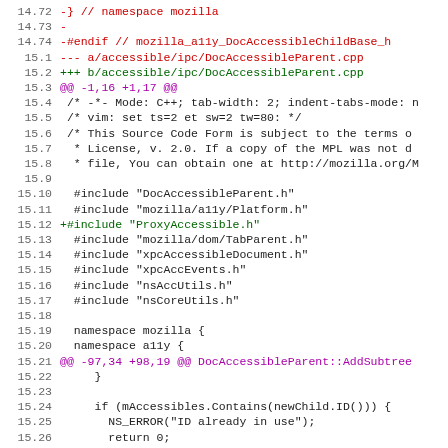[Figure (screenshot): Code diff showing C++ source file changes for DocAccessibleParent.cpp in Mozilla accessibility IPC, with line numbers, red removed lines, green added lines, magenta hunk headers, and black context lines.]